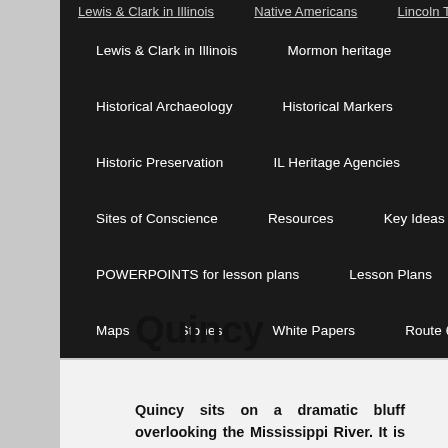Lewis & Clark in Illinois | Mormon heritage | Historical Archaeology | Historical Markers | Historic Preservation | IL Heritage Agencies | Sites of Conscience | Resources | Key Ideas | POWERPOINTS for lesson plans | Lesson Plans | Maps | Stories | White Papers | Route 66-A 66
Quincy
Quincy sits on a dramatic bluff overlooking the Mississippi River. It is one of the most historically